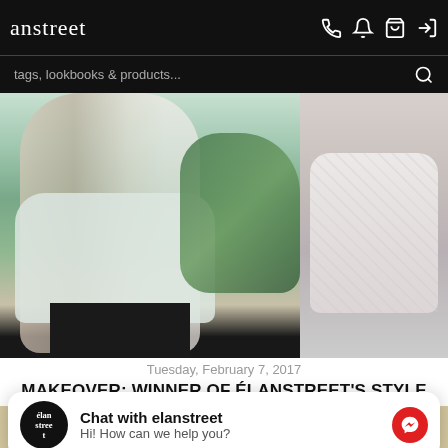anstreet
tags, lookbooks & products...
[Figure (photo): Two fashion photos side by side: left shows a woman in a light blue top with arms crossed in a garden setting; right shows a woman in a lace/embroidered top]
Tuesday, February 7, 2017
MAKEOVER: WINNER OF ÉLANSTREET'S STYLE ME CONTEST
Chat with elanstreet
Hi! How can we help you?
[Figure (photo): Bottom preview of another article with decorative background]